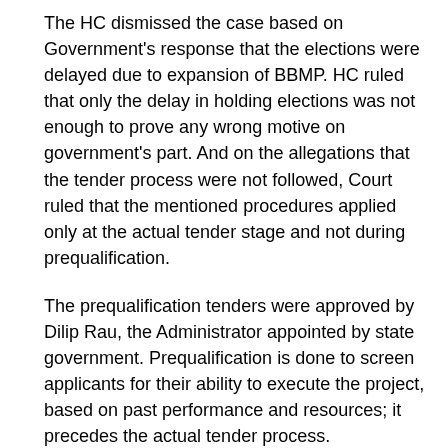The HC dismissed the case based on Government's response that the elections were delayed due to expansion of BBMP. HC ruled that only the delay in holding elections was not enough to prove any wrong motive on government's part. And on the allegations that the tender process were not followed, Court ruled that the mentioned procedures applied only at the actual tender stage and not during prequalification.
The prequalification tenders were approved by Dilip Rau, the Administrator appointed by state government. Prequalification is done to screen applicants for their ability to execute the project, based on past performance and resources; it precedes the actual tender process.
The PIL was filed by former Mayors P R Ramesh and M Ramachandrappa, and former KSRTC Chairman T Prabhakar. Respondents for the case were BBMP and